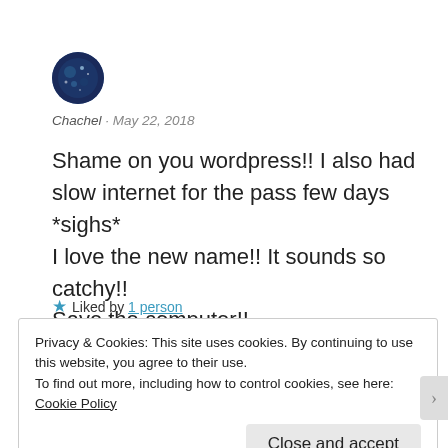[Figure (photo): Circular avatar image with blue/dark cosmic theme]
Chachel · May 22, 2018
Shame on you wordpress!! I also had slow internet for the pass few days *sighs* I love the new name!! It sounds so catchy!! Save the computer!!
★ Liked by 1 person
Privacy & Cookies: This site uses cookies. By continuing to use this website, you agree to their use.
To find out more, including how to control cookies, see here: Cookie Policy
Close and accept